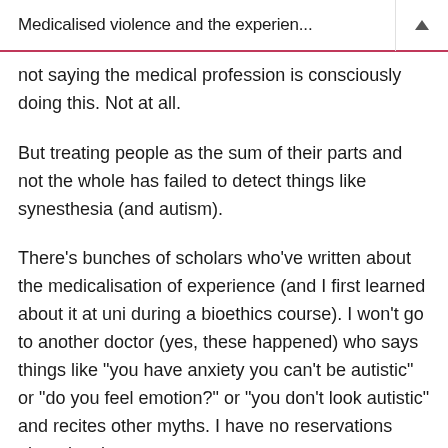Medicalised violence and the experien...
not saying the medical profession is consciously doing this. Not at all.
But treating people as the sum of their parts and not the whole has failed to detect things like synesthesia (and autism).
There’s bunches of scholars who’ve written about the medicalisation of experience (and I first learned about it at uni during a bioethics course). I won’t go to another doctor (yes, these happened) who says things like “you have anxiety you can’t be autistic” or “do you feel emotion?” or “you don’t look autistic” and recites other myths. I have no reservations about leaving a